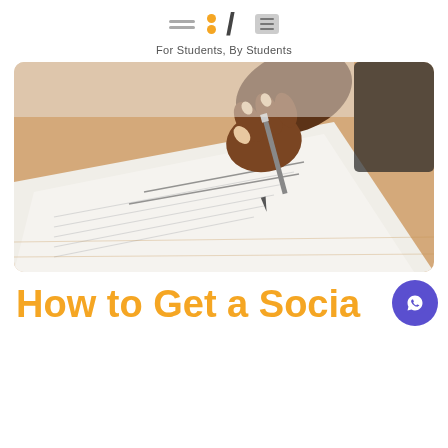For Students, By Students
[Figure (photo): Close-up photo of a person's hand holding a pen and writing on a document/form on a wooden desk]
How to Get a Socia